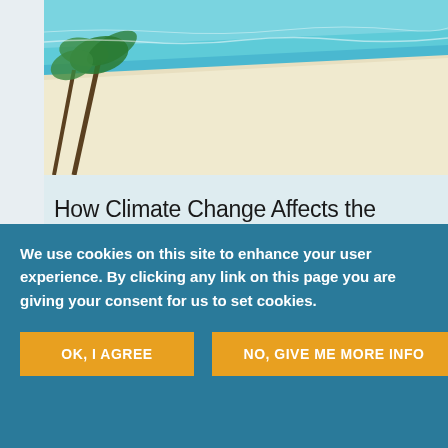[Figure (photo): Aerial or elevated view of a tropical beach with white sand, palm trees, and turquoise ocean water]
How Climate Change Affects the Pacific
Sabira Coelho | 19 Sep 2019
Types of migration
We use cookies on this site to enhance your user experience. By clicking any link on this page you are giving your consent for us to set cookies.
OK, I AGREE
NO, GIVE ME MORE INFO